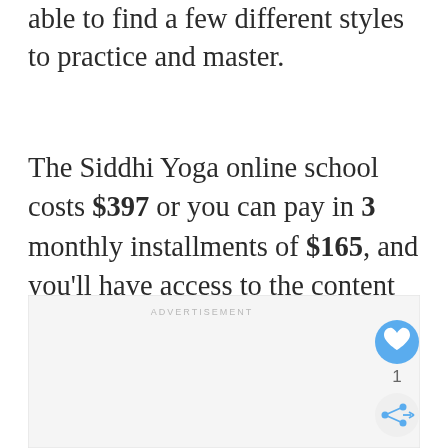able to find a few different styles to practice and master.
The Siddhi Yoga online school costs $397 or you can pay in 3 monthly installments of $165, and you'll have access to the content for a lifetime.
[Figure (other): Advertisement placeholder box with ADVERTISEMENT label, a heart/like button (blue circle with heart icon) showing count 1, and a share button (grey circle with share icon)]